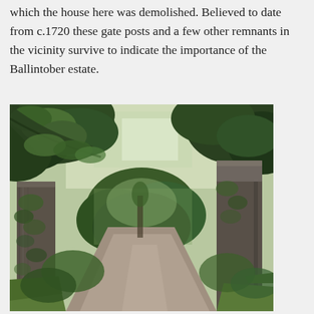which the house here was demolished. Believed to date from c.1720 these gate posts and a few other remnants in the vicinity survive to indicate the importance of the Ballintober estate.
[Figure (photo): Photograph of two large stone gate posts overgrown with ivy and surrounded by trees and lush green vegetation, with a gravel driveway passing between them leading into a wooded area.]